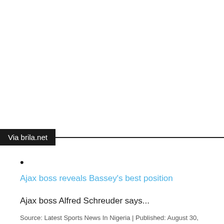Via brila.net
•
Ajax boss reveals Bassey's best position
Ajax boss Alfred Schreuder says...
Source: Latest Sports News In Nigeria | Published: August 30, 2022 -